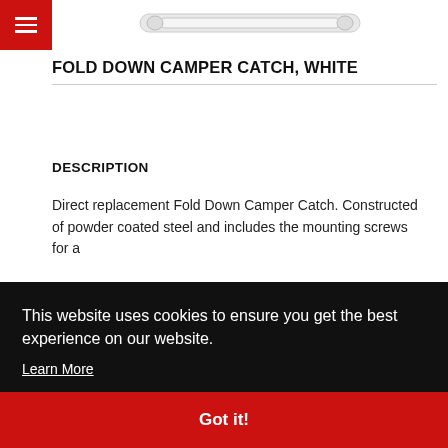[Figure (photo): Top portion of a product image (Fold Down Camper Catch) on white background, partially cropped at top]
FOLD DOWN CAMPER CATCH, WHITE
DESCRIPTION
Direct replacement Fold Down Camper Catch. Constructed of powder coated steel and includes the mounting screws for a
This website uses cookies to ensure you get the best experience on our website. Learn More
Got it!